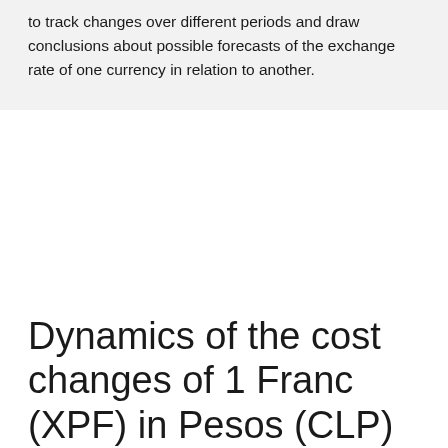to track changes over different periods and draw conclusions about possible forecasts of the exchange rate of one currency in relation to another.
Dynamics of the cost changes of 1 Franc (XPF) in Pesos (CLP)